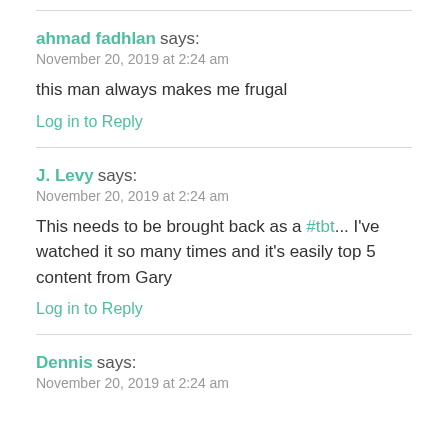ahmad fadhlan says:
November 20, 2019 at 2:24 am
this man always makes me frugal
Log in to Reply
J. Levy says:
November 20, 2019 at 2:24 am
This needs to be brought back as a #tbt... I've watched it so many times and it's easily top 5 content from Gary
Log in to Reply
Dennis says:
November 20, 2019 at 2:24 am